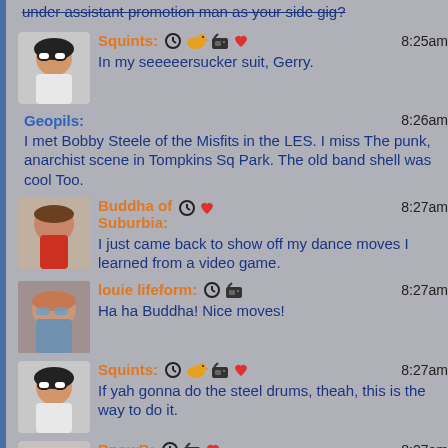under assistant promotion man as your side gig?
Squints: 8:25am — In my seeeeersucker suit, Gerry.
Geopils: 8:26am — I met Bobby Steele of the Misfits in the LES. I miss The punk, anarchist scene in Tompkins Sq Park. The old band shell was cool Too.
Buddha of Suburbia: 8:27am — I just came back to show off my dance moves I learned from a video game.
louie lifeform: 8:27am — Ha ha Buddha! Nice moves!
Squints: 8:27am — If yah gonna do the steel drums, theah, this is the way to do it.
BnowB: 8:27am — PIDGE!!! TY Handy --- I might ride my bike through Forest street 'summer party' I have friends who live on that street. Thanks for reminder. Shout at me if